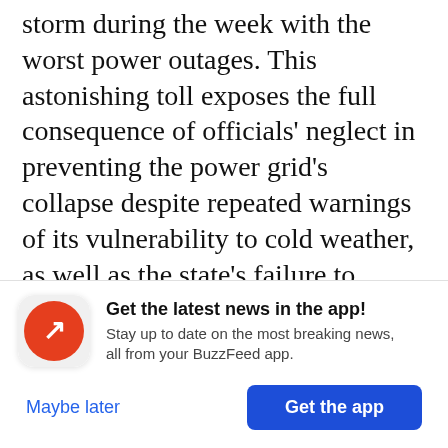storm during the week with the worst power outages. This astonishing toll exposes the full consequence of officials' neglect in preventing the power grid's collapse despite repeated warnings of its vulnerability to cold weather, as well as the state's failure to reckon with the magnitude of the crisis that followed.
Many of the uncounted victims of the storm and power outages were already medically
Get the latest news in the app! Stay up to date on the most breaking news, all from your BuzzFeed app.
Maybe later
Get the app